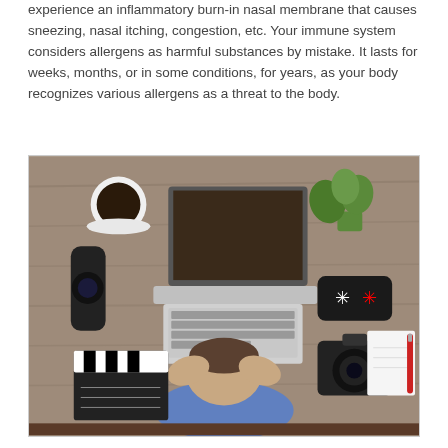experience an inflammatory burn-in nasal membrane that causes sneezing, nasal itching, congestion, etc. Your immune system considers allergens as harmful substances by mistake. It lasts for weeks, months, or in some conditions, for years, as your body recognizes various allergens as a threat to the body.
[Figure (photo): Overhead view of a person sitting at a wooden desk with their head in their hands, surrounded by a laptop, coffee cup, camera lens, clapperboard, plant, pencil case, DSLR camera, notepad, and red pen.]